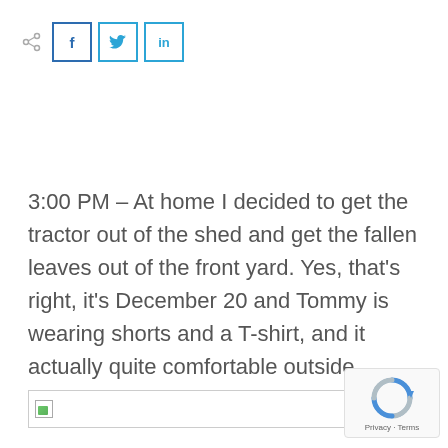[Figure (infographic): Social share icons: share icon, Facebook (f), Twitter (bird), LinkedIn (in) buttons with teal/blue borders]
3:00 PM – At home I decided to get the tractor out of the shed and get the fallen leaves out of the front yard. Yes, that's right, it's December 20 and Tommy is wearing shorts and a T-shirt, and it actually quite comfortable outside.
[Figure (photo): Broken image placeholder with small green image icon inside a bordered box]
[Figure (logo): reCAPTCHA badge with logo and Privacy · Terms text]